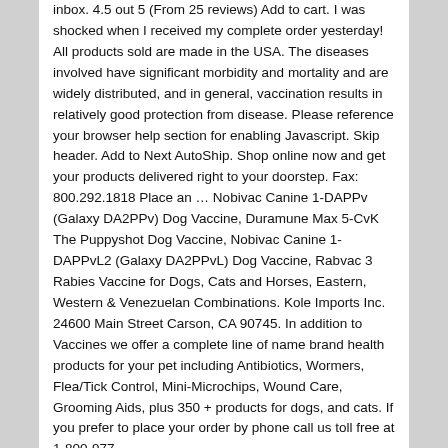inbox. 4.5 out 5 (From 25 reviews) Add to cart. I was shocked when I received my complete order yesterday! All products sold are made in the USA. The diseases involved have significant morbidity and mortality and are widely distributed, and in general, vaccination results in relatively good protection from disease. Please reference your browser help section for enabling Javascript. Skip header. Add to Next AutoShip. Shop online now and get your products delivered right to your doorstep. Fax: 800.292.1818 Place an … Nobivac Canine 1-DAPPv (Galaxy DA2PPv) Dog Vaccine, Duramune Max 5-CvK The Puppyshot Dog Vaccine, Nobivac Canine 1-DAPPvL2 (Galaxy DA2PPvL) Dog Vaccine, Rabvac 3 Rabies Vaccine for Dogs, Cats and Horses, Eastern, Western & Venezuelan Combinations. Kole Imports Inc. 24600 Main Street Carson, CA 90745. In addition to Vaccines we offer a complete line of name brand health products for your pet including Antibiotics, Wormers, Flea/Tick Control, Mini-Microchips, Wound Care, Grooming Aids, plus 350 + products for dogs, and cats. If you prefer to place your order by phone call us toll free at 1-800-977-